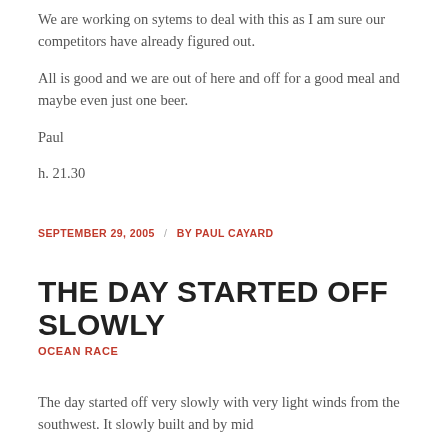We are working on sytems to deal with this as I am sure our competitors have already figured out.
All is good and we are out of here and off for a good meal and maybe even just one beer.
Paul
h. 21.30
SEPTEMBER 29, 2005  /  BY PAUL CAYARD
THE DAY STARTED OFF SLOWLY
OCEAN RACE
The day started off very slowly with very light winds from the southwest. It slowly built and by mid